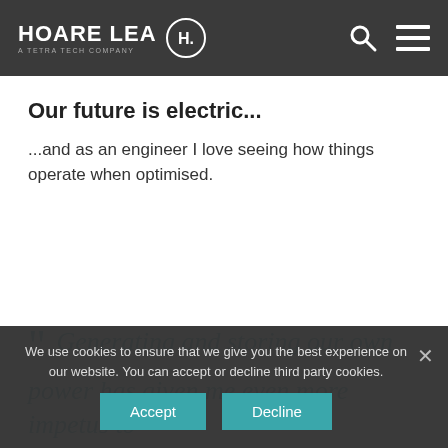HOARE LEA — A TETRA TECH COMPANY
Our future is electric...
...and as an engineer I love seeing how things operate when optimised.
“ Generating and storing our own power has given me even more impetus to
We use cookies to ensure that we give you the best experience on our website. You can accept or decline third party cookies.